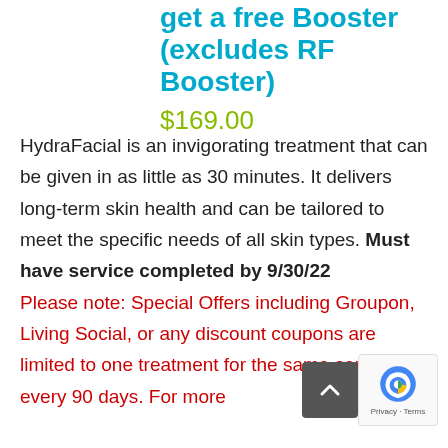get a free Booster (excludes RF Booster)
$169.00
HydraFacial is an invigorating treatment that can be given in as little as 30 minutes. It delivers long-term skin health and can be tailored to meet the specific needs of all skin types. Must have service completed by 9/30/22 Please note: Special Offers including Groupon, Living Social, or any discount coupons are limited to one treatment for the same service every 90 days. For more